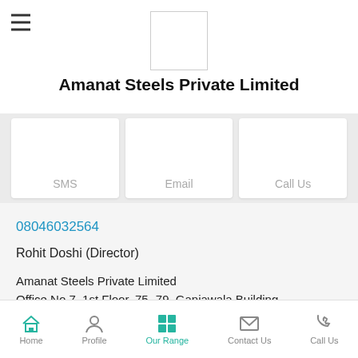[Figure (logo): Company logo placeholder box]
Amanat Steels Private Limited
SMS | Email | Call Us
08046032564
Rohit Doshi (Director)
Amanat Steels Private Limited
Office No 7, 1st Floor, 75- 79, Ganjawala Building,
Bhuleshwar, Mumbai 400004, Maharashtra.
Home | Profile | Our Range | Contact Us | Call Us